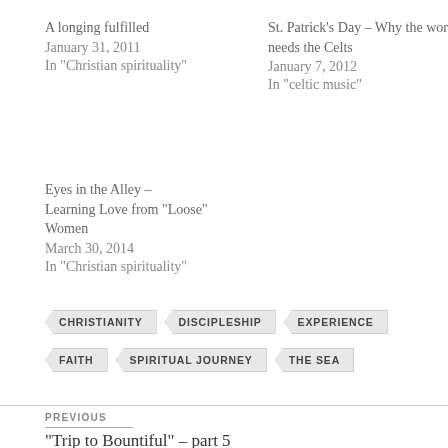A longing fulfilled
January 31, 2011
In “Christian spirituality”
St. Patrick’s Day – Why the world needs the Celts
January 7, 2012
In “celtic music”
Eyes in the Alley – Learning Love from “Loose” Women
March 30, 2014
In “Christian spirituality”
CHRISTIANITY
DISCIPLESHIP
EXPERIENCE
FAITH
SPIRITUAL JOURNEY
THE SEA
PREVIOUS
“Trip to Bountiful” – part 5